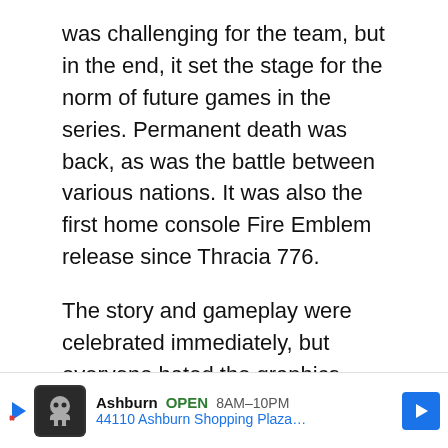was challenging for the team, but in the end, it set the stage for the norm of future games in the series. Permanent death was back, as was the battle between various nations. It was also the first home console Fire Emblem release since Thracia 776.
The story and gameplay were celebrated immediately, but everyone hated the graphics. They were rough, even by early 2000s standards. The game sold well in Japan but not as well in the West.
Fire Emblem: Radiant Dawn (Wii)
Radiant Dawn, released in 2007, is a direct sequ... deve...
[Figure (other): Advertisement overlay: Ashburn OPEN 8AM-10PM, 44110 Ashburn Shopping Plaza...]